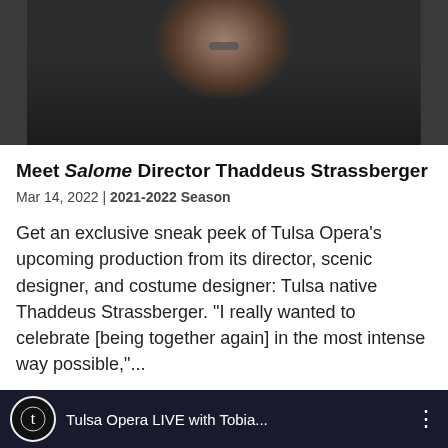[Figure (photo): Photo of a man in a dark zip-up sweater, partially visible, cropped at the top of the page]
Meet Salome Director Thaddeus Strassberger
Mar 14, 2022 | 2021-2022 Season
Get an exclusive sneak peek of Tulsa Opera's upcoming production from its director, scenic designer, and costume designer: Tulsa native Thaddeus Strassberger. “I really wanted to celebrate [being together again] in the most intense way possible,”...
[Figure (screenshot): Thumbnail for a video titled 'Tulsa Opera LIVE with Tobia...' with Tulsa Opera logo on dark background]